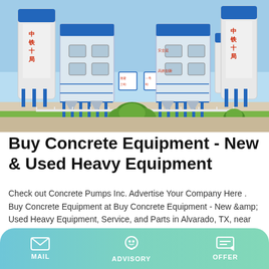[Figure (photo): Industrial concrete batching plant with large white cylindrical silos marked with red Chinese characters, blue steel framework structures, two main mixing towers, and green shrubs in foreground under blue sky.]
Buy Concrete Equipment - New & Used Heavy Equipment
Check out Concrete Pumps Inc. Advertise Your Company Here . Buy Concrete Equipment at Buy Concrete Equipment - New &amp; Used Heavy Equipment, Service, and Parts in Alvarado, TX, near Forth Worth, Dallas, Arlington, Hillsboro, and Plano in Alvarado TX. Previous Pause Next.
MAIL | ADVISORY | OFFER